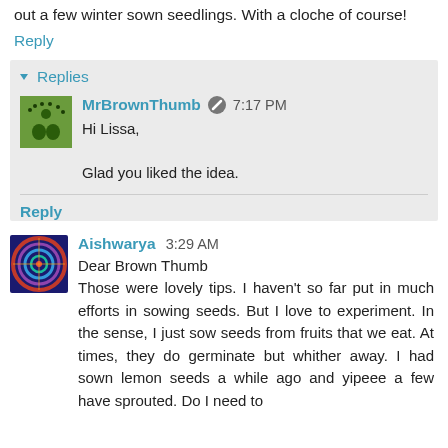out a few winter sown seedlings. With a cloche of course!
Reply
Replies
MrBrownThumb  7:17 PM
Hi Lissa,

Glad you liked the idea.
Reply
Aishwarya  3:29 AM
Dear Brown Thumb
Those were lovely tips. I haven't so far put in much efforts in sowing seeds. But I love to experiment. In the sense, I just sow seeds from fruits that we eat. At times, they do germinate but whither away. I had sown lemon seeds a while ago and yipeee a few have sprouted. Do I need to